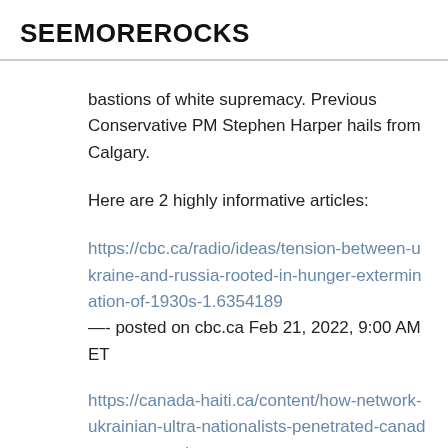SEEMOREROCKS
bastions of white supremacy. Previous Conservative PM Stephen Harper hails from Calgary.
Here are 2 highly informative articles:
https://cbc.ca/radio/ideas/tension-between-ukraine-and-russia-rooted-in-hunger-extermination-of-1930s-1.6354189 —- posted on cbc.ca Feb 21, 2022, 9:00 AM ET
https://canada-haiti.ca/content/how-network-ukrainian-ultra-nationalists-penetrated-canadas-conservative-party-